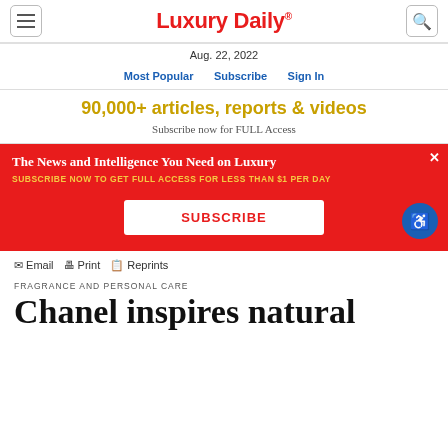Luxury Daily
Aug. 22, 2022
Most Popular   Subscribe   Sign In
90,000+ articles, reports & videos
Subscribe now for FULL Access
[Figure (infographic): Red advertisement banner: 'The News and Intelligence You Need on Luxury' with 'SUBSCRIBE NOW TO GET FULL ACCESS FOR LESS THAN $1 PER DAY' and a SUBSCRIBE button]
Email   Print   Reprints
FRAGRANCE AND PERSONAL CARE
Chanel inspires natural